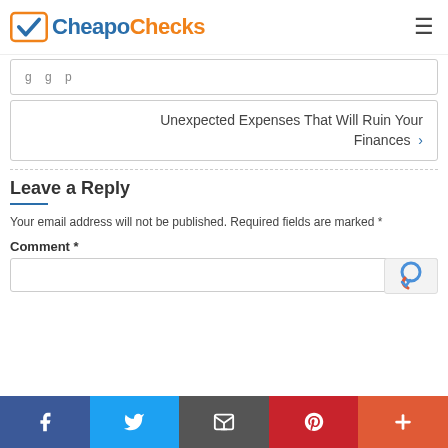CheapoChecks
g g p
Unexpected Expenses That Will Ruin Your Finances >
Leave a Reply
Your email address will not be published. Required fields are marked *
Comment *